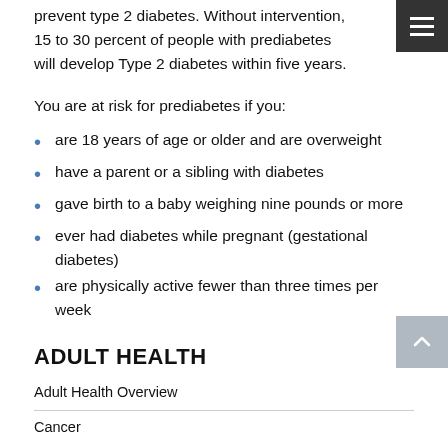prevent type 2 diabetes. Without intervention, 15 to 30 percent of people with prediabetes will develop Type 2 diabetes within five years.
You are at risk for prediabetes if you:
are 18 years of age or older and are overweight
have a parent or a sibling with diabetes
gave birth to a baby weighing nine pounds or more
ever had diabetes while pregnant (gestational diabetes)
are physically active fewer than three times per week
ADULT HEALTH
Adult Health Overview
Cancer